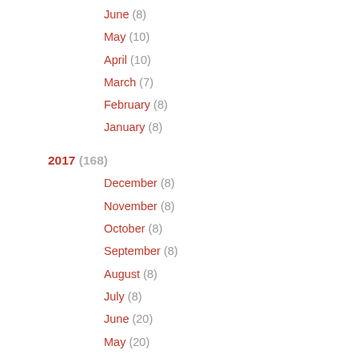June (8)
May (10)
April (10)
March (7)
February (8)
January (8)
2017 (168)
December (8)
November (8)
October (8)
September (8)
August (8)
July (8)
June (20)
May (20)
April (20)
March (20)
February (20)